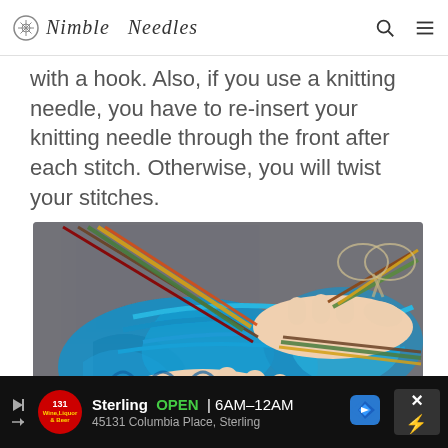Nimble Needles
with a hook. Also, if you use a knitting needle, you have to re-insert your knitting needle through the front after each stitch. Otherwise, you will twist your stitches.
[Figure (photo): Close-up photo of hands holding blue knitting yarn with multiple double-pointed knitting needles inserted through stitches, with scissors visible in the background.]
[Figure (other): Advertisement bar: Sterling OPEN | 6AM-12AM, 45131 Columbia Place, Sterling. Shows store logo, map direction icon, and close button.]